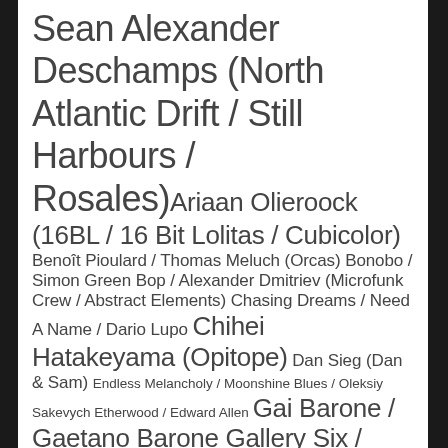Sean Alexander Deschamps (North Atlantic Drift / Still Harbours / Rosales) Ariaan Olieroock (16BL / 16 Bit Lolitas / Cubicolor) Benoît Pioulard / Thomas Meluch (Orcas) Bonobo / Simon Green Bop / Alexander Dmitriev (Microfunk Crew / Abstract Elements) Chasing Dreams / Need A Name / Dario Lupo Chihei Hatakeyama (Opitope) Dan Sieg (Dan & Sam) Endless Melancholy / Moonshine Blues / Oleksiy Sakevych Etherwood / Edward Allen Gai Barone / Gaetano Barone Gallery Six / Hidekazu Imashige GMJ / Gavin Martin Guy J / Cornucopia / Guy Judah Halftribe / Ryan Bissett Helios / Keith Kenniff / Goldmund (Mint Julep) Henry Saiz / Hal Incandenza /